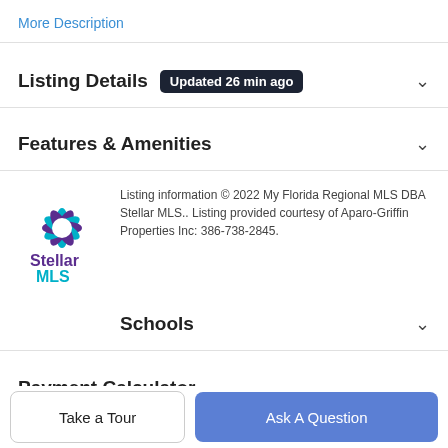More Description
Listing Details  Updated 26 min ago
Features & Amenities
Listing information © 2022 My Florida Regional MLS DBA Stellar MLS.. Listing provided courtesy of Aparo-Griffin Properties Inc: 386-738-2845.
Schools
Payment Calculator
Contact Agent
Take a Tour
Ask A Question